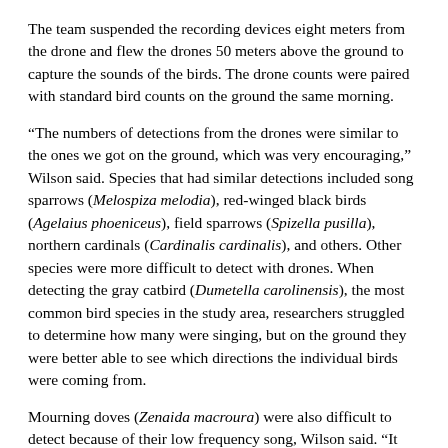The team suspended the recording devices eight meters from the drone and flew the drones 50 meters above the ground to capture the sounds of the birds. The drone counts were paired with standard bird counts on the ground the same morning.
“The numbers of detections from the drones were similar to the ones we got on the ground, which was very encouraging,” Wilson said. Species that had similar detections included song sparrows (Melospiza melodia), red-winged black birds (Agelaius phoeniceus), field sparrows (Spizella pusilla), northern cardinals (Cardinalis cardinalis), and others. Other species were more difficult to detect with drones. When detecting the gray catbird (Dumetella carolinensis), the most common bird species in the study area, researchers struggled to determine how many were singing, but on the ground they were better able to see which directions the individual birds were coming from.
Mourning doves (Zenaida macroura) were also difficult to detect because of their low frequency song, Wilson said. “It overlaps with the drone noise,” he said.